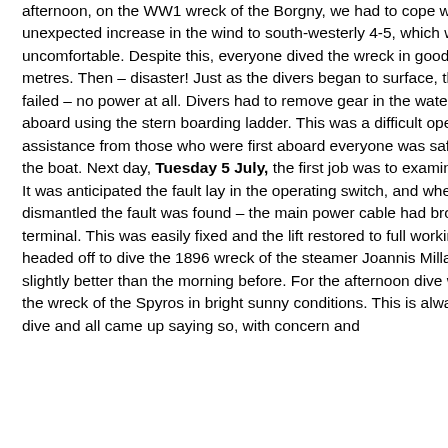afternoon, on the WW1 wreck of the Borgny, we had to cope with an unexpected increase in the wind to south-westerly 4-5, which was quite uncomfortable. Despite this, everyone dived the wreck in good vis of around 5 metres. Then – disaster! Just as the divers began to surface, the stern lift failed – no power at all. Divers had to remove gear in the water and clamber aboard using the stern boarding ladder. This was a difficult operation but with assistance from those who were first aboard everyone was safely recovered to the boat. Next day, Tuesday 5 July, the first job was to examine the stern lift. It was anticipated the fault lay in the operating switch, and when it was dismantled the fault was found – the main power cable had broken from the terminal. This was easily fixed and the lift restored to full working order. We headed off to dive the 1896 wreck of the steamer Joannis Millas. Vis was slightly better than the morning before. For the afternoon dive we headed to the wreck of the Spyros in bright sunny conditions. This is always a popular dive and all came up saying so, with concern and